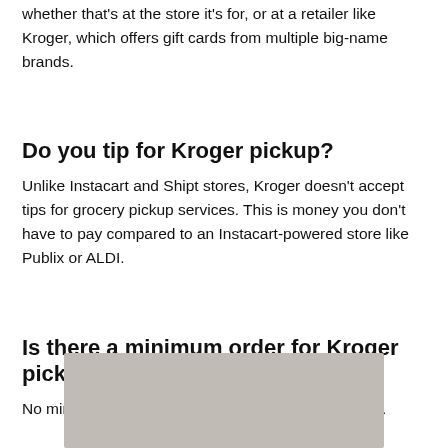whether that’s at the store it’s for, or at a retailer like Kroger, which offers gift cards from multiple big-name brands.
Do you tip for Kroger pickup?
Unlike Instacart and Shipt stores, Kroger doesn’t accept tips for grocery pickup services. This is money you don’t have to pay compared to an Instacart-powered store like Publix or ALDI.
Is there a minimum order for Kroger pickup?
No minimum purchase is required to use the Service.
[Figure (photo): Gray image placeholder at bottom of page]